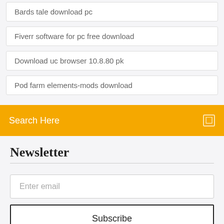Bards tale download pc
Fiverr software for pc free download
Download uc browser 10.8.80 pk
Pod farm elements-mods download
Search Here
Newsletter
Enter email
Subscribe